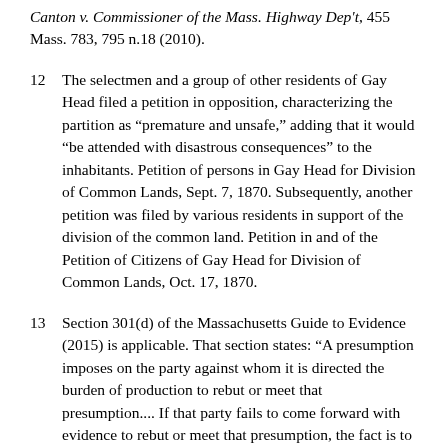Canton v. Commissioner of the Mass. Highway Dep't, 455 Mass. 783, 795 n.18 (2010).
12  The selectmen and a group of other residents of Gay Head filed a petition in opposition, characterizing the partition as “premature and unsafe,” adding that it would “be attended with disastrous consequences” to the inhabitants. Petition of persons in Gay Head for Division of Common Lands, Sept. 7, 1870. Subsequently, another petition was filed by various residents in support of the division of the common land. Petition in and of the Petition of Citizens of Gay Head for Division of Common Lands, Oct. 17, 1870.
13  Section 301(d) of the Massachusetts Guide to Evidence (2015) is applicable. That section states: “A presumption imposes on the party against whom it is directed the burden of production to rebut or meet that presumption.... If that party fails to come forward with evidence to rebut or meet that presumption, the fact is to be taken by the fact finder as established. If that party comes forward with evidence to rebut or meet the presumption, the